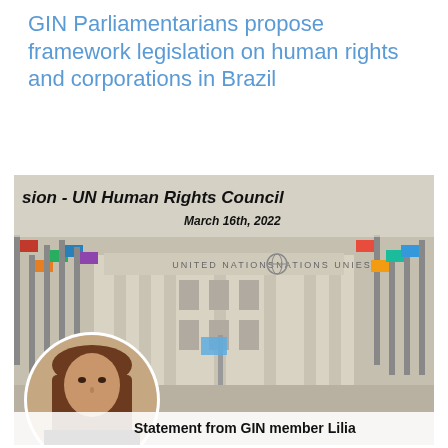GIN Parliamentarians propose framework legislation on human rights and corporations in Brazil
[Figure (photo): Composite image showing the UN Human Rights Council building with flags, overlaid with a circular portrait of a woman (GIN member Lilia), and text overlay reading 'Session - UN Human Rights Council, March 16th, 2022' and 'Statement from GIN member Lilia']